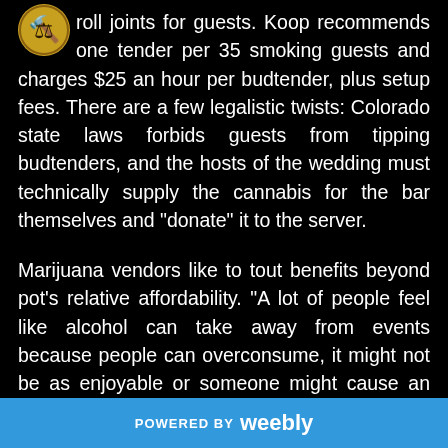roll joints for guests. Koop recommends one tender per 35 smoking guests and charges $25 an hour per budtender, plus setup fees. There are a few legalistic twists: Colorado state laws forbids guests from tipping budtenders, and the hosts of the wedding must technically supply the cannabis for the bar themselves and "donate" it to the server.
Marijuana vendors like to tout benefits beyond pot's relative affordability. "A lot of people feel like alcohol can take away from events because people can overconsume, it might not be as enjoyable or someone might cause an issue, or god forbid something worse," said Wolf. "With cannabis, you really don't have that threat."
There's no risk of marijuana bars cutting into the boozy
POWERED BY weebly